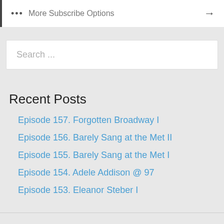••• More Subscribe Options →
Search ...
Recent Posts
Episode 157. Forgotten Broadway I
Episode 156. Barely Sang at the Met II
Episode 155. Barely Sang at the Met I
Episode 154. Adele Addison @ 97
Episode 153. Eleanor Steber I
Archives